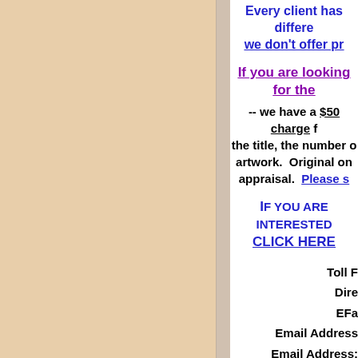Every client has different needs — we don't offer pr...
If you are looking for the...
-- we have a $50 charge ... the title, the number of ... artwork. Original on... appraisal. Please s...
If you are interested... CLICK HERE...
Toll F...
Dire...
EFa...
Email Address...
Email Address:
Email Address:
Email: herndonfineart@...